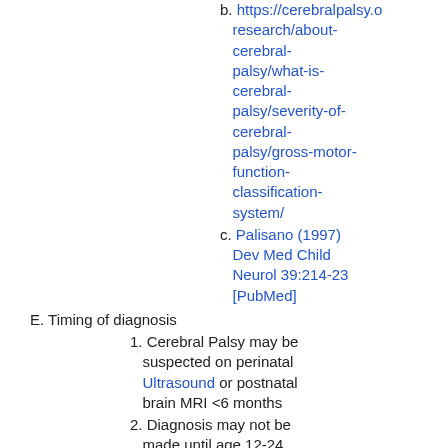b. https://cerebralpalsy.org/research/about-cerebral-palsy/what-is-cerebral-palsy/severity-of-cerebral-palsy/gross-motor-function-classification-system/
c. Palisano (1997) Dev Med Child Neurol 39:214-23 [PubMed]
E. Timing of diagnosis
1. Cerebral Palsy may be suspected on perinatal Ultrasound or postnatal brain MRI <6 months
2. Diagnosis may not be made until age 12-24 months in areas with fewer Imaging Resources
F. Resources
1. Movement Disorder examples
a. https://www.youtube.com/v=cOfUGUNxEqU